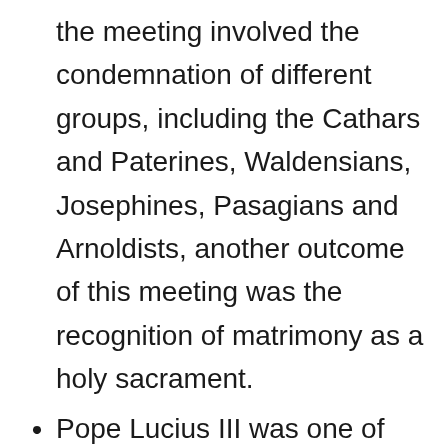the meeting involved the condemnation of different groups, including the Cathars and Paterines, Waldensians, Josephines, Pasagians and Arnoldists, another outcome of this meeting was the recognition of matrimony as a holy sacrament.
Pope Lucius III was one of the last popes to believe that it was acceptable for clergy to be married. His support for married clergy can be seen in a letter to